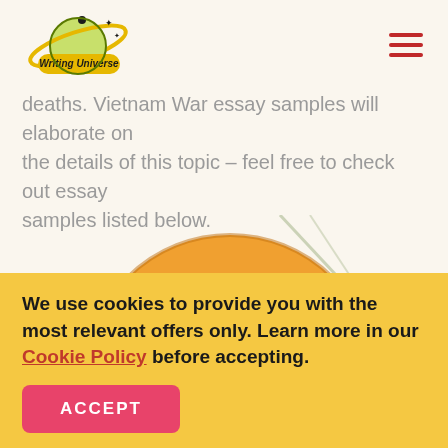[Figure (logo): Writing Universe logo — planet with orbital ring and text 'Writing Universe']
deaths. Vietnam War essay samples will elaborate on the details of this topic – feel free to check out essay samples listed below.
[Figure (illustration): Space-themed illustration with large orange planet with swirl patterns, diagonal lines/comets, small pink and green planets on cream background]
We use cookies to provide you with the most relevant offers only. Learn more in our Cookie Policy before accepting.
ACCEPT